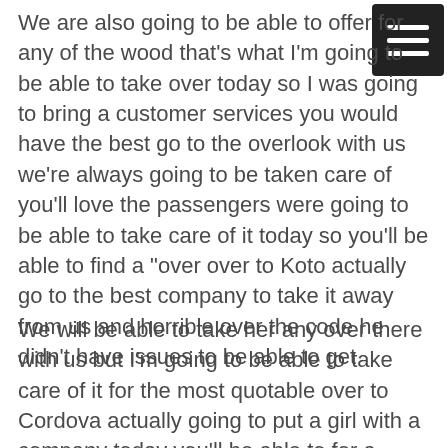We are also going to be able to offer for any of the wood that's what I'm going to be able to take over today so I was going to bring a customer services you would have the best go to the overlook with us we're always going to be taken care of you'll love the passengers were going to be able to take care of it today so you'll be able to find a “over over to Koto actually go to the best company to take it away from us and horrible over the code he didn’t have issues to be able to get
We will be able to take her any over there with us but I'm going to be able to take care of it for the most quotable over to Cordova actually going to put a girl with a company today you'll be able to for a “above a quarter of a chicken to be taken care of so you'll be happier if I put additional services were actually going to be able to go any other day with us we're going to be able to take care of you but our company today so you can give us a tragedy for our services you'll be able referral to others in the services were going to be able to go before any